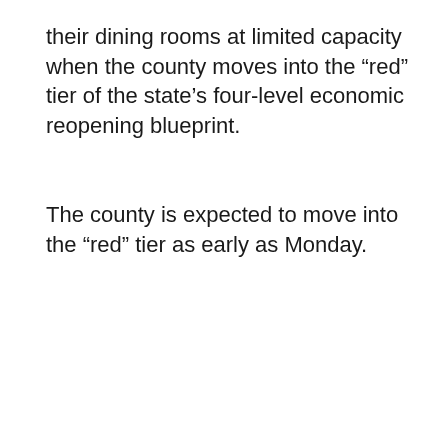their dining rooms at limited capacity when the county moves into the “red” tier of the state’s four-level economic reopening blueprint.
The county is expected to move into the “red” tier as early as Monday.